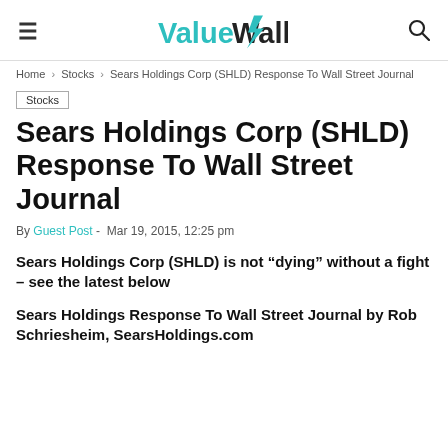ValueWalk
Home › Stocks › Sears Holdings Corp (SHLD) Response To Wall Street Journal
Stocks
Sears Holdings Corp (SHLD) Response To Wall Street Journal
By Guest Post - Mar 19, 2015, 12:25 pm
Sears Holdings Corp (SHLD) is not “dying” without a fight – see the latest below
Sears Holdings Response To Wall Street Journal by Rob Schriesheim, SearsHoldings.com